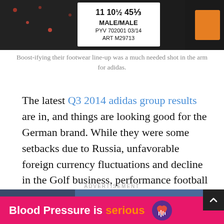[Figure (photo): Close-up of an Adidas shoe or apparel tag showing size 11, 10.5, 45.5, MALE/MALE, PYV 702001 03/14, ART M29713, on a dark background with orange accent]
Boost-ifying their footwear line-up was a much needed shot in the arm for adidas.
The latest Q3 2014 adidas group results are in, and things are looking good for the German brand. While they were some setbacks due to Russia, unfavorable foreign currency fluctuations and decline in the Golf business, performance football (soccer) and running were bearers of good tidings, among other positives.
ADVERTISEMENT
[Figure (photo): Advertisement banner reading 'Blood Pressure is serious' with a heart logo on a pink/magenta background]